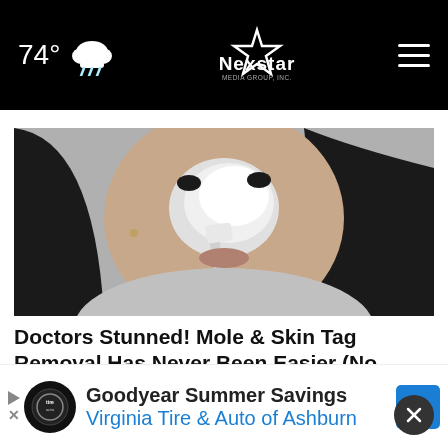74° [weather icon] Nexstar Media Group [hamburger menu]
[Figure (photo): Black and white photo of a woman applying cream or paste to her nose/face area using a toothbrush, looking at the camera.]
Doctors Stunned! Mole & Skin Tag Removal Has Never Been Easier (No...
Ad by Mole & Skin Tag Removal
[Figure (screenshot): Goodyear Tire Promotion advertisement banner: Goodyear Summer Savings — Virginia Tire & Auto of Ashburn]
Goodyear Summer Savings Virginia Tire & Auto of Ashburn